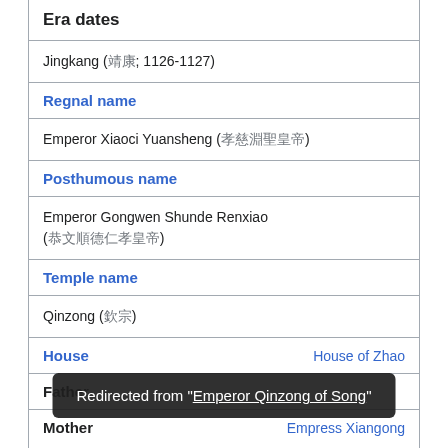Era dates
Jingkang (靖康; 1126-1127)
Regnal name
Emperor Xiaoci Yuansheng (孝慈淵聖皇帝)
Posthumous name
Emperor Gongwen Shunde Renxiao (恭文順德仁孝皇帝)
Temple name
Qinzong (欽宗)
House | House of Zhao
Father
Mother | Empress Xiangong
Redirected from "Emperor Qinzong of Song"